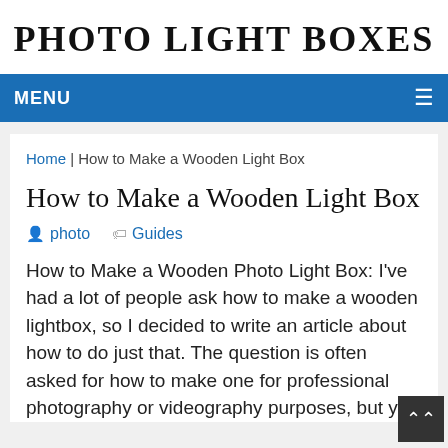PHOTO LIGHT BOXES
MENU
Home | How to Make a Wooden Light Box
How to Make a Wooden Light Box
photo   Guides
How to Make a Wooden Photo Light Box: I've had a lot of people ask how to make a wooden lightbox, so I decided to write an article about how to do just that. The question is often asked for how to make one for professional photography or videography purposes, but you